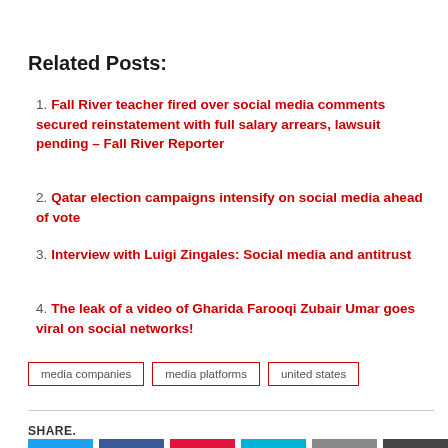Related Posts:
Fall River teacher fired over social media comments secured reinstatement with full salary arrears, lawsuit pending – Fall River Reporter
Qatar election campaigns intensify on social media ahead of vote
Interview with Luigi Zingales: Social media and antitrust
The leak of a video of Gharida Farooqi Zubair Umar goes viral on social networks!
media companies  media platforms  united states
SHARE.